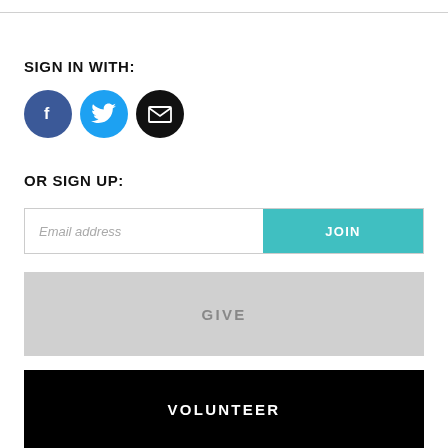SIGN IN WITH:
[Figure (infographic): Three social sign-in buttons: Facebook (blue circle with f icon), Twitter (cyan circle with bird icon), Email (black circle with envelope icon)]
OR SIGN UP:
[Figure (infographic): Email address input field with placeholder 'Email address' and a teal JOIN button]
GIVE
VOLUNTEER